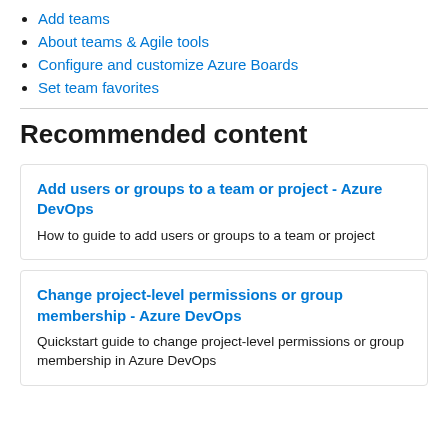Add teams
About teams & Agile tools
Configure and customize Azure Boards
Set team favorites
Recommended content
Add users or groups to a team or project - Azure DevOps
How to guide to add users or groups to a team or project
Change project-level permissions or group membership - Azure DevOps
Quickstart guide to change project-level permissions or group membership in Azure DevOps